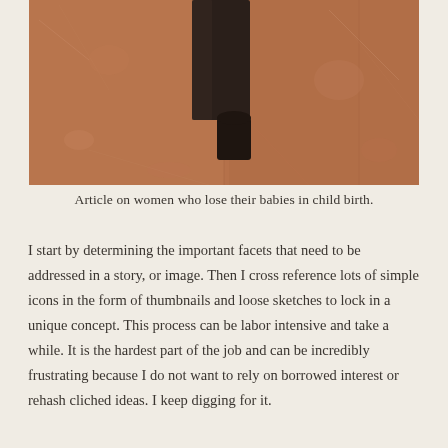[Figure (illustration): A worn, textured painting or artwork showing dark abstract forms resembling a tall dark column or tower and a smaller arched doorway or window shape, on a rusty orange-brown aged background with scratches and peeling texture.]
Article on women who lose their babies in child birth.
I start by determining the important facets that need to be addressed in a story, or image. Then I cross reference lots of simple icons in the form of thumbnails and loose sketches to lock in a unique concept. This process can be labor intensive and take a while. It is the hardest part of the job and can be incredibly frustrating because I do not want to rely on borrowed interest or rehash cliched ideas. I keep digging for it.